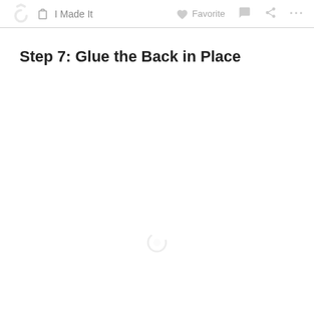✋ I Made It   ♥ Favorite   💬   ⋘   ...
Step 7: Glue the Back in Place